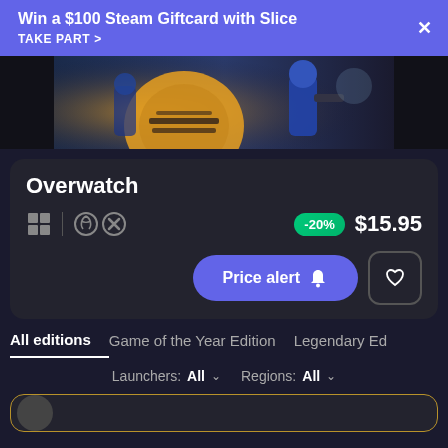Win a $100 Steam Giftcard with Slice
TAKE PART >
[Figure (screenshot): Overwatch game artwork showing characters in action]
Overwatch
Platform icons: Windows, Battle.net, Xbox | -20% $15.95
Price alert 🔔 (button) | Heart/wishlist (button)
All editions | Game of the Year Edition | Legendary Ed
Launchers: All ∨    Regions: All ∨
[Figure (screenshot): Bottom card stub with gold border and avatar]